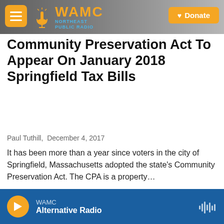WAMC Northeast Public Radio — Donate
Community Preservation Act To Appear On January 2018 Springfield Tax Bills
Paul Tuthill,  December 4, 2017
It has been more than a year since voters in the city of Springfield, Massachusetts adopted the state's Community Preservation Act. The CPA is a property…
[Figure (other): Listen button: LISTEN • 6:14]
[Figure (photo): Partial photo of interior building scene]
WAMC — Alternative Radio (player bar)